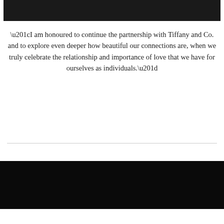[Figure (photo): Dark photograph at the top of the page, appears to show people in dark clothing]
“I am honoured to continue the partnership with Tiffany and Co. and to explore even deeper how beautiful our connections are, when we truly celebrate the relationship and importance of love that we have for ourselves as individuals.”
[Figure (photo): Black bar section at the bottom with a small broken/placeholder image icon]